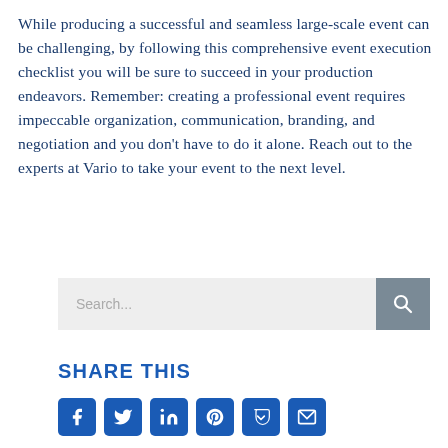While producing a successful and seamless large-scale event can be challenging, by following this comprehensive event execution checklist you will be sure to succeed in your production endeavors. Remember: creating a professional event requires impeccable organization, communication, branding, and negotiation and you don't have to do it alone. Reach out to the experts at Vario to take your event to the next level.
[Figure (other): Search bar with text input field showing 'Search...' placeholder and a grey search button with magnifying glass icon]
SHARE THIS
[Figure (other): Row of social media share buttons: Facebook, Twitter, LinkedIn, Pinterest, Pocket/Save, Email — all in blue rounded square buttons]